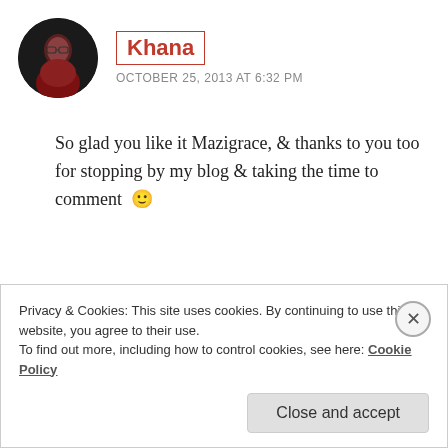[Figure (photo): Circular avatar photo of a woman with dark hair and glasses wearing a dark red/maroon outfit against a dark background]
Khana
OCTOBER 25, 2013 AT 6:32 PM
So glad you like it Mazigrace, & thanks to you too for stopping by my blog & taking the time to comment 🙂
★ Like
REPLY
Privacy & Cookies: This site uses cookies. By continuing to use this website, you agree to their use.
To find out more, including how to control cookies, see here: Cookie Policy
Close and accept